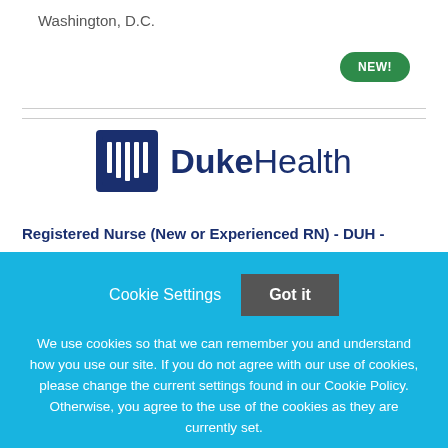Washington, D.C.
[Figure (logo): Duke Health logo with blue shield icon and Duke Health text]
Registered Nurse (New or Experienced RN) - DUH -
Cookie Settings  Got it

We use cookies so that we can remember you and understand how you use our site. If you do not agree with our use of cookies, please change the current settings found in our Cookie Policy. Otherwise, you agree to the use of the cookies as they are currently set.